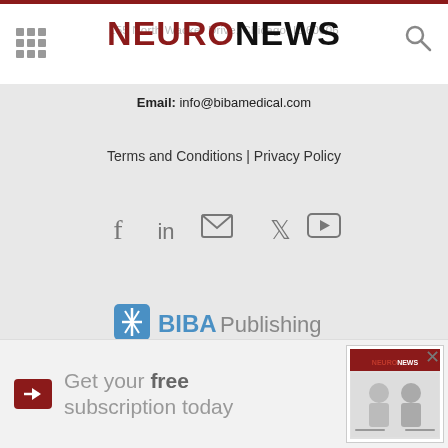155 North Wacker Drive, Chicago, IL 60606
[Figure (logo): NeuroNews logo with NEURO in dark red and NEWS in black, bold, large font]
Email: info@bibamedical.com
Terms and Conditions | Privacy Policy
[Figure (other): Social media icons row: Facebook, LinkedIn, Email/envelope, Twitter, YouTube]
[Figure (logo): BIBA Publishing logo with snowflake icon in blue square and BIBA in blue bold, Publishing in gray]
[Figure (logo): Cardiac Rhythm News logo in dark gray serif font]
[Figure (logo): Cardiovascular News logo with Cardiovascular in dark blue bold and News in red]
[Figure (other): Advertisement banner: Get your free subscription today with NeuroNews magazine cover image, close X button]